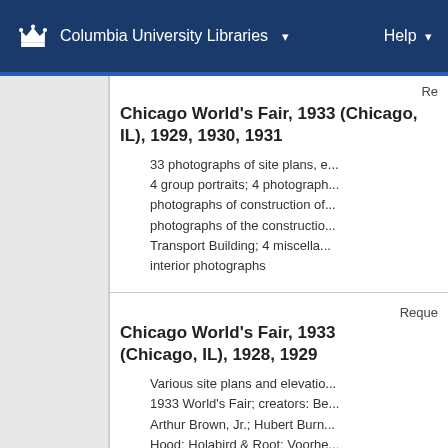Columbia University Libraries  ▾    Help ▾
Re...
Chicago World's Fair, 1933 (Chicago, IL), 1929, 1930, 1931
33 photographs of site plans, e... 4 group portraits; 4 photographs of construction of... photographs of the constructio... Transport Building; 4 miscella... interior photographs
Reque...
Chicago World's Fair, 1933 (Chicago, IL), 1928, 1929
Various site plans and elevatio... 1933 World's Fair; creators: Be... Arthur Brown, Jr.; Hubert Burn... Hood; Holabird & Root; Voorhe... pages of photographs of drawi...